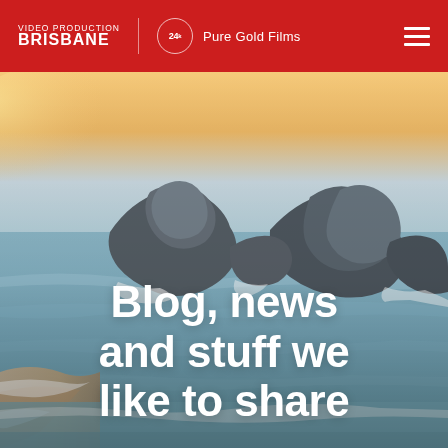VIDEO PRODUCTION BRISBANE | 24k Pure Gold Films
[Figure (photo): Aerial coastal landscape at golden hour showing rocky outcrops surrounded by turquoise ocean waves with warm sunset light on the horizon]
Blog, news and stuff we like to share